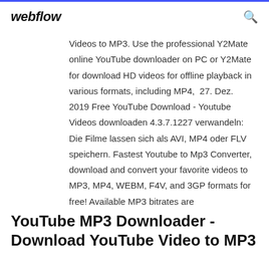webflow
Videos to MP3. Use the professional Y2Mate online YouTube downloader on PC or Y2Mate for download HD videos for offline playback in various formats, including MP4,  27. Dez. 2019 Free YouTube Download - Youtube Videos downloaden 4.3.7.1227 verwandeln: Die Filme lassen sich als AVI, MP4 oder FLV speichern. Fastest Youtube to Mp3 Converter, download and convert your favorite videos to MP3, MP4, WEBM, F4V, and 3GP formats for free! Available MP3 bitrates are
YouTube MP3 Downloader - Download YouTube Video to MP3